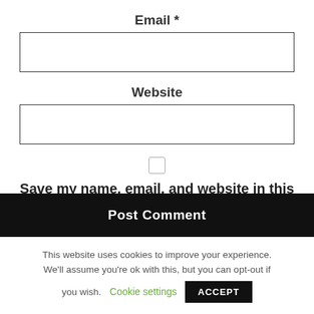Email *
[Figure (other): Empty email input text field]
Website
[Figure (other): Empty website input text field]
[Figure (other): Unchecked checkbox]
Save my name, email, and website in this browser for the next time I comment.
[Figure (other): Post Comment button (black background, white text, partially visible)]
This website uses cookies to improve your experience. We'll assume you're ok with this, but you can opt-out if you wish.
Cookie settings
ACCEPT